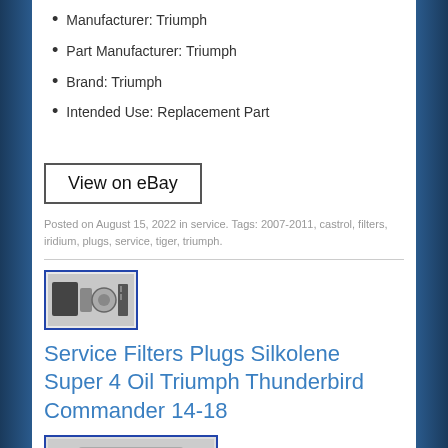Manufacturer: Triumph
Part Manufacturer: Triumph
Brand: Triumph
Intended Use: Replacement Part
[Figure (other): View on eBay button]
Posted on August 15, 2022 in service. Tags: 2007-2011, castrol, filters, iridium, plugs, service, tiger, triumph.
[Figure (photo): Thumbnail image of service filters and oil products]
Service Filters Plugs Silkolene Super 4 Oil Triumph Thunderbird Commander 14-18
[Figure (photo): Partially visible product image at bottom of page]